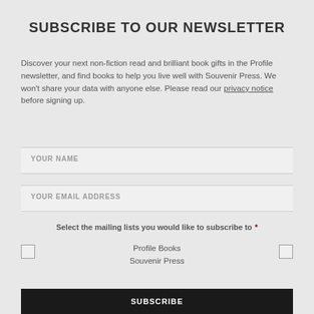SUBSCRIBE TO OUR NEWSLETTER
Discover your next non-fiction read and brilliant book gifts in the Profile newsletter, and find books to help you live well with Souvenir Press. We won't share your data with anyone else. Please read our privacy notice before signing up.
YOUR NAME
YOUR EMAIL ADDRESS
Select the mailing lists you would like to subscribe to *
Profile Books
Souvenir Press
SUBSCRIBE